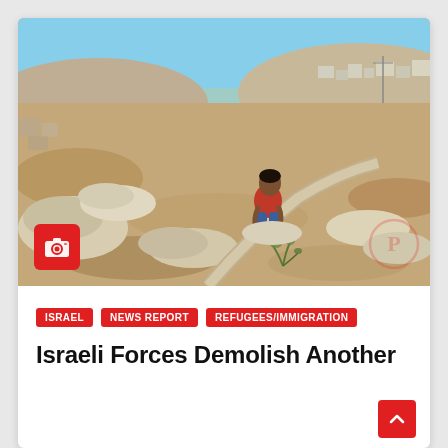[Figure (photo): A person crouching on rocky, arid terrain. The landscape is hilly and barren with scattered large rocks and rubble. In the background there are buildings on a hilltop and a winding road. Blue sky visible at the top.]
ISRAEL
NEWS REPORT
REFUGEES/IMMIGRATION
Israeli Forces Demolish Another